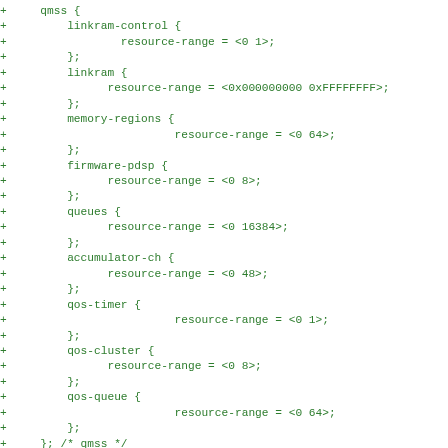+     qmss {
+         linkram-control {
+                 resource-range = <0 1>;
+         };
+         linkram {
+               resource-range = <0x000000000 0xFFFFFFFF>;
+         };
+         memory-regions {
+                         resource-range = <0 64>;
+         };
+         firmware-pdsp {
+               resource-range = <0 8>;
+         };
+         queues {
+               resource-range = <0 16384>;
+         };
+         accumulator-ch {
+               resource-range = <0 48>;
+         };
+         qos-timer {
+                         resource-range = <0 1>;
+         };
+         qos-cluster {
+               resource-range = <0 8>;
+         };
+         qos-queue {
+                         resource-range = <0 64>;
+         };
+     }; /* qmss */
+
+     cppi {
+         srio-rx-ch {